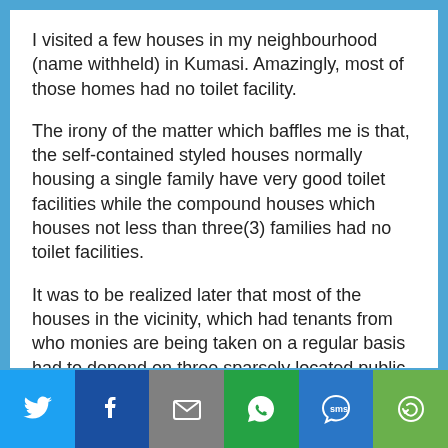I visited a few houses in my neighbourhood (name withheld) in Kumasi. Amazingly, most of those homes had no toilet facility.
The irony of the matter which baffles me is that, the self-contained styled houses normally housing a single family have very good toilet facilities while the compound houses which houses not less than three(3) families had no toilet facilities.
It was to be realized later that most of the houses in the vicinity, which had tenants from who monies are being taken on a regular basis had to depend on three sparsely located public toilet facilities.
An early morning visit to one of the public toilets witnessed a long queue of children and adults in a
[Figure (infographic): Social sharing bar with icons for Twitter, Facebook, Email, WhatsApp, SMS, and More (circular arrow icon). Each icon is white on a colored background.]